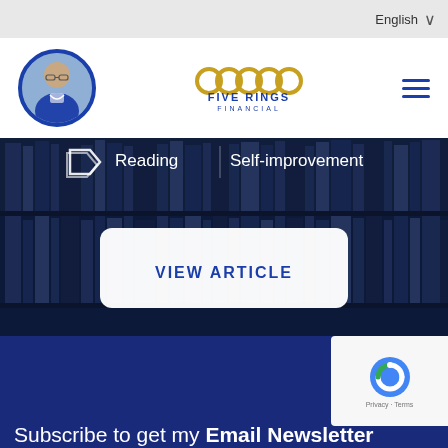English
[Figure (logo): Five Rings Financial logo with circular avatar photo of a woman on the left and hamburger menu icon on the right]
[Figure (photo): Background image of dark library bookshelves with tag icon, text labels Reading and Self-improvement, and a VIEW ARTICLE button]
Reading   Self-improvement
VIEW ARTICLE
Subscribe to get my Email Newsletter